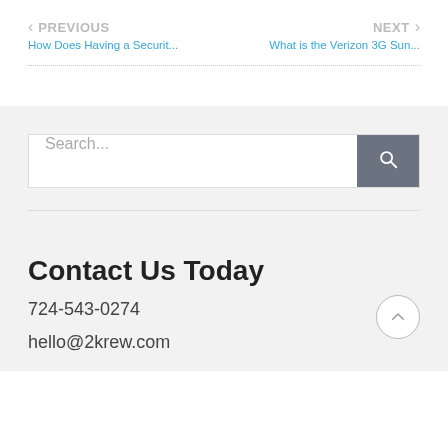PREVIOUS How Does Having a Securit... | NEXT What is the Verizon 3G Sun...
[Figure (screenshot): Search bar with text 'Search...' and a gray search button with magnifying glass icon]
Contact Us Today
724-543-0274
hello@2krew.com